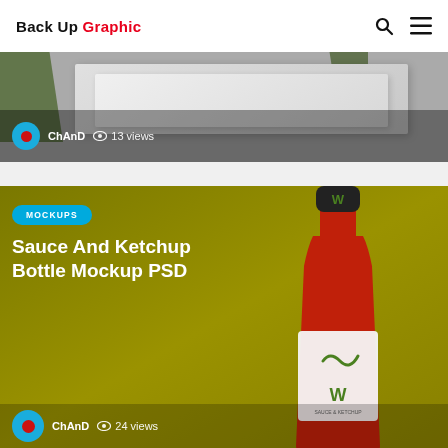Back Up Graphic
[Figure (screenshot): Partial card showing a design mockup with green leaves and gray/white boxes, user ChAnD, 13 views]
ChAnD  13 views
[Figure (photo): Sauce and Ketchup Bottle Mockup PSD card with olive/yellow background, red sauce bottle with white label and green W logo, MOCKUPS badge, user ChAnD, 24 views]
MOCKUPS
Sauce And Ketchup Bottle Mockup PSD
ChAnD  24 views